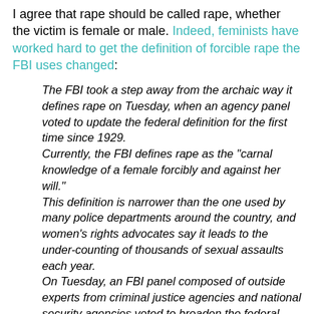I agree that rape should be called rape, whether the victim is female or male. Indeed, feminists have worked hard to get the definition of forcible rape the FBI uses changed:
The FBI took a step away from the archaic way it defines rape on Tuesday, when an agency panel voted to update the federal definition for the first time since 1929. Currently, the FBI defines rape as the "carnal knowledge of a female forcibly and against her will." This definition is narrower than the one used by many police departments around the country, and women's rights advocates say it leads to the under-counting of thousands of sexual assaults each year. On Tuesday, an FBI panel composed of outside experts from criminal justice agencies and national security agencies voted to broaden the federal government's definition. The new definition would take out the